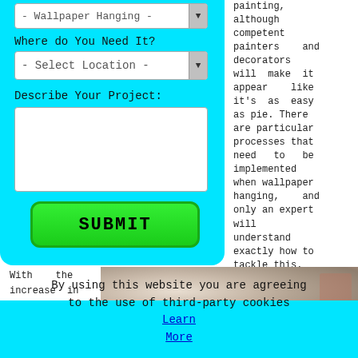[Figure (screenshot): Web form with cyan background showing wallpaper hanging service inquiry. Contains dropdown for 'Wallpaper Hanging', dropdown for 'Select Location', a text area for project description, and a green SUBMIT button.]
painting, although competent painters and decorators will make it appear like it's as easy as pie. There are particular processes that need to be implemented when wallpaper hanging, and only an expert will understand exactly how to tackle this.
With the increase in Scarcliffe
[Figure (photo): Close-up blurred photo of a person hanging wallpaper or doing decorating work.]
By using this website you are agreeing to the use of third-party cookies Learn More OK